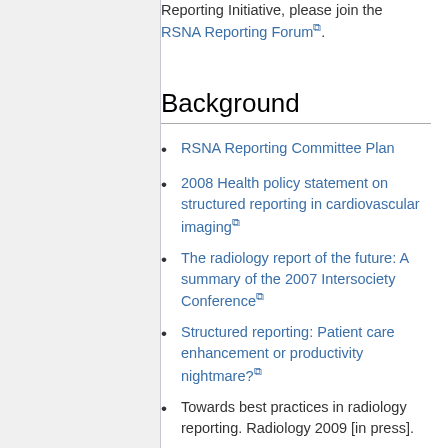Reporting Initiative, please join the RSNA Reporting Forum.
Background
RSNA Reporting Committee Plan
2008 Health policy statement on structured reporting in cardiovascular imaging
The radiology report of the future: A summary of the 2007 Intersociety Conference
Structured reporting: Patient care enhancement or productivity nightmare?
Towards best practices in radiology reporting. Radiology 2009 [in press].